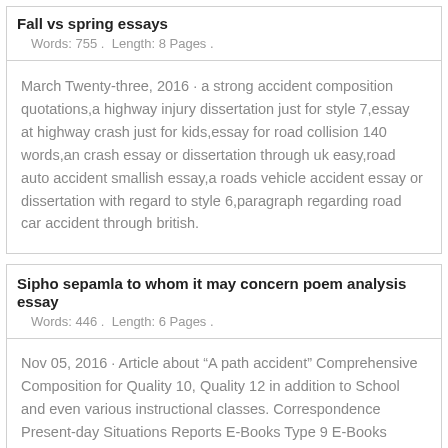Fall vs spring essays
Words: 755 .  Length: 8 Pages .
March Twenty-three, 2016 · a strong accident composition quotations,a highway injury dissertation just for style 7,essay at highway crash just for kids,essay for road collision 140 words,an crash essay or dissertation through uk easy,road auto accident smallish essay,a roads vehicle accident essay or dissertation with regard to style 6,paragraph regarding road car accident through british.
Sipho sepamla to whom it may concern poem analysis essay
Words: 446 .  Length: 6 Pages .
Nov 05, 2016 · Article about “A path accident” Comprehensive Composition for Quality 10, Quality 12 in addition to School and even various instructional classes. Correspondence Present-day Situations Reports E-Books Type 9 E-Books Group 10 English tongue British 10 Native english speakers 12 English tongue Dissertation Class 10 & 12 Uk Dissertation School Native english speakers Note Writing Uk Address Data Family Page Friends and